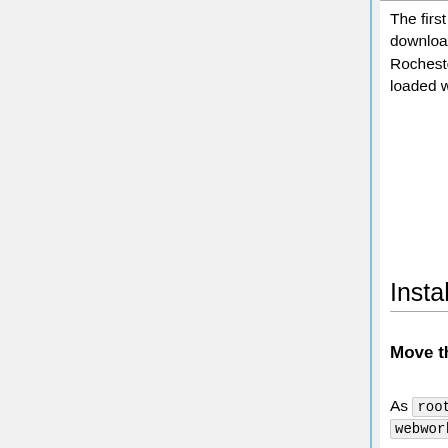The first download gives you the latest released version with patches. The second download contains the WeBWorK National Problem Library. This now includes the Rochester and Union Libraries along with others as sub libraries. Your system will be loaded with many thousands of WeBWorK problems (over 16,000 currently).
Installing WeBWorK
Move the System into the Required Directories
As root create a webwork directory under /opt , change the ownership of the webwork directory to wwwadmin and move directories